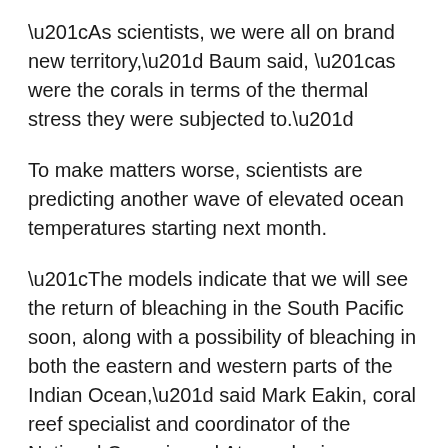“As scientists, we were all on brand new territory,” Baum said, “as were the corals in terms of the thermal stress they were subjected to.”
To make matters worse, scientists are predicting another wave of elevated ocean temperatures starting next month.
“The models indicate that we will see the return of bleaching in the South Pacific soon, along with a possibility of bleaching in both the eastern and western parts of the Indian Ocean,” said Mark Eakin, coral reef specialist and coordinator of the National Oceanic and Atmospheric Administration’s Coral Reef Watch, which uses satellites to monitor environmental conditions around reefs. It may not be as bad as last year, but could further stress “reefs that are still hurting from the last two years.”